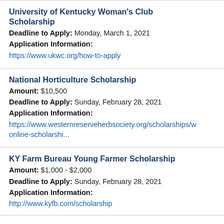University of Kentucky Woman's Club Scholarship
Deadline to Apply: Monday, March 1, 2021
Application Information:
https://www.ukwc.org/how-to-apply
National Horticulture Scholarship
Amount: $10,500
Deadline to Apply: Sunday, February 28, 2021
Application Information:
https://www.westernreserveherbsociety.org/scholarships/online-scholarshi...
KY Farm Bureau Young Farmer Scholarship
Amount: $1,000 - $2,000
Deadline to Apply: Sunday, February 28, 2021
Application Information:
http://www.kyfb.com/scholarship